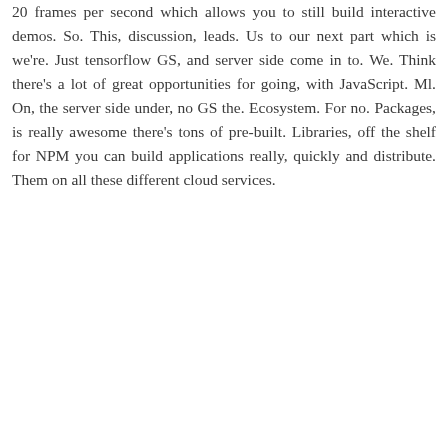20 frames per second which allows you to still build interactive demos. So. This, discussion, leads. Us to our next part which is we're. Just tensorflow GS, and server side come in to. We. Think there's a lot of great opportunities for going, with JavaScript. Ml. On, the server side under, no GS the. Ecosystem. For no. Packages, is really awesome there's tons of pre-built. Libraries, off the shelf for NPM you can build applications really, quickly and distribute. Them on all these different cloud services.